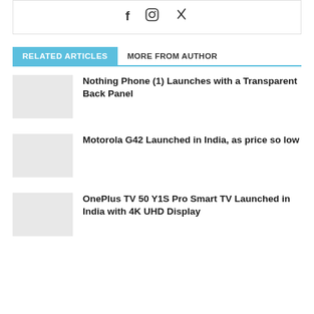[Figure (other): Social media icons: Facebook (f), Instagram (circle), Xing (X-like symbol)]
RELATED ARTICLES   MORE FROM AUTHOR
Nothing Phone (1) Launches with a Transparent Back Panel
Motorola G42 Launched in India, as price so low
OnePlus TV 50 Y1S Pro Smart TV Launched in India with 4K UHD Display